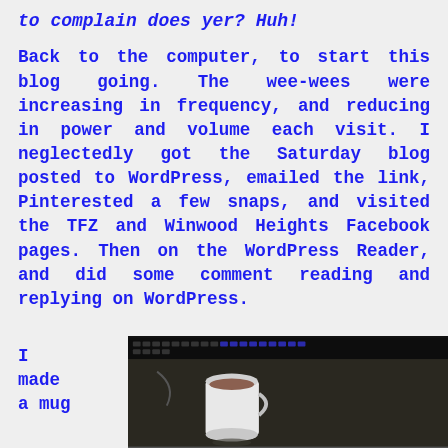to complain does yer? Huh!
Back to the computer, to start this blog going. The wee-wees were increasing in frequency, and reducing in power and volume each visit. I neglectedly got the Saturday blog posted to WordPress, emailed the link, Pinterested a few snaps, and visited the TFZ and Winwood Heights Facebook pages. Then on the WordPress Reader, and did some comment reading and replying on WordPress.
I made a mug
[Figure (photo): A photograph showing a laptop keyboard at the top with a white mug/cup in front of it, on a dark surface]